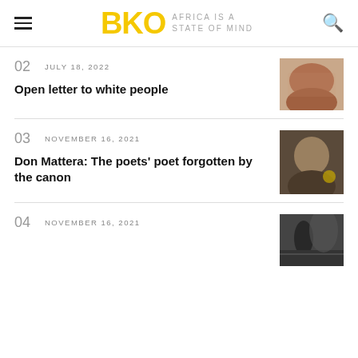BKO — AFRICA IS A STATE OF MIND
02  JULY 18, 2022
Open letter to white people
03  NOVEMBER 16, 2021
Don Mattera: The poets' poet forgotten by the canon
04  NOVEMBER 16, 2021